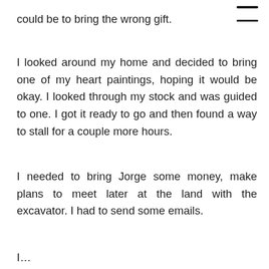could be to bring the wrong gift.
I looked around my home and decided to bring one of my heart paintings, hoping it would be okay. I looked through my stock and was guided to one. I got it ready to go and then found a way to stall for a couple more hours.
I needed to bring Jorge some money, make plans to meet later at the land with the excavator. I had to send some emails.
I…